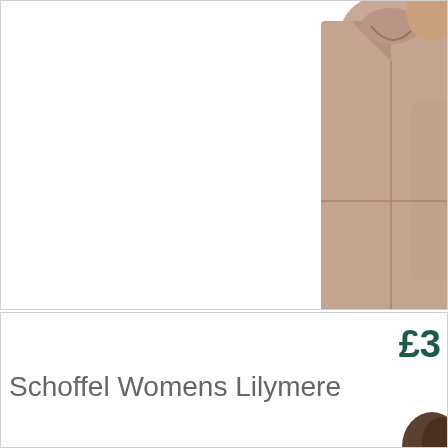[Figure (photo): Top portion of a product listing card showing a woman wearing a Schoffel blazer/jacket in a pink-beige houndstooth pattern, cropped at right side of frame against white background]
£3
Schoffel Womens Lilymere
[Figure (photo): Bottom portion of a product listing card showing the top of a model's head/dark hair, bottom card cropped]